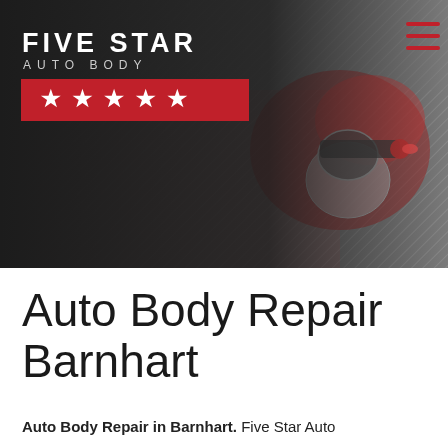[Figure (photo): Five Star Auto Body website header banner. Left side has a dark gradient with the Five Star Auto Body logo (white text) and a red star rating bar with 5 white stars. Right side shows a close-up photo of a red auto spray paint gun. A hamburger menu icon in red is in the top-right corner.]
Auto Body Repair Barnhart
Auto Body Repair in Barnhart. Five Star Auto